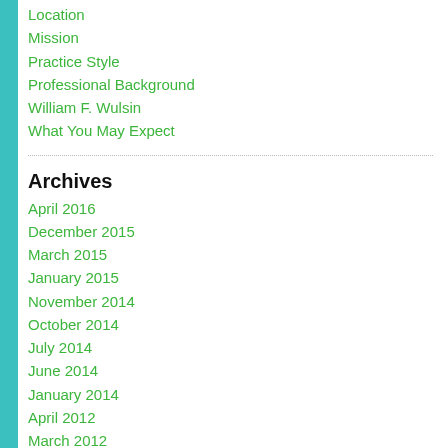Location
Mission
Practice Style
Professional Background
William F. Wulsin
What You May Expect
Archives
April 2016
December 2015
March 2015
January 2015
November 2014
October 2014
July 2014
June 2014
January 2014
April 2012
March 2012
Categories
Child Development (3)
Diasater Response (1)
Drug use/abuse (2)
Global Health Related News (24)
Research (16)
Personal Service (1)
Public Health (4)
Substance use and Diabetes (1)